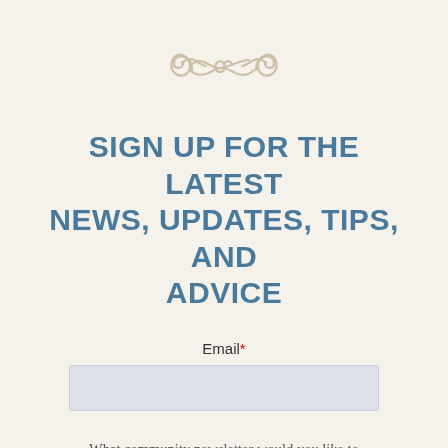[Figure (illustration): Decorative ornamental flourish/swirl design in light tan/beige color]
SIGN UP FOR THE LATEST NEWS, UPDATES, TIPS, AND ADVICE
Email*
What community newsletter would you like to